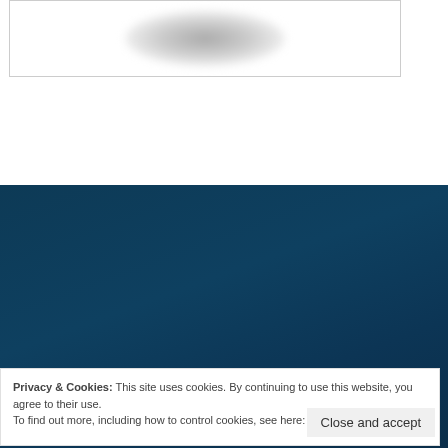[Figure (photo): Blurred/greyed out image at top of page inside a bordered box]
Let’s Connect
Privacy & Cookies: This site uses cookies. By continuing to use this website, you agree to their use.
To find out more, including how to control cookies, see here: Cookie Policy
Close and accept